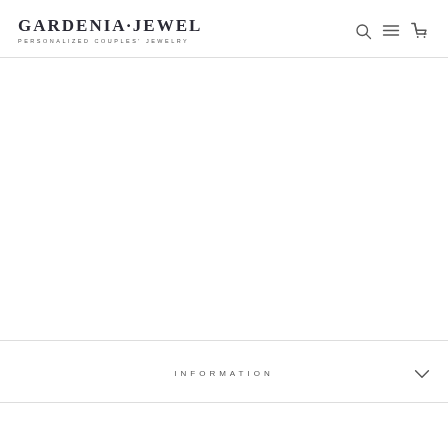GARDENIA·JEWEL PERSONALIZED COUPLES' JEWELRY
INFORMATION